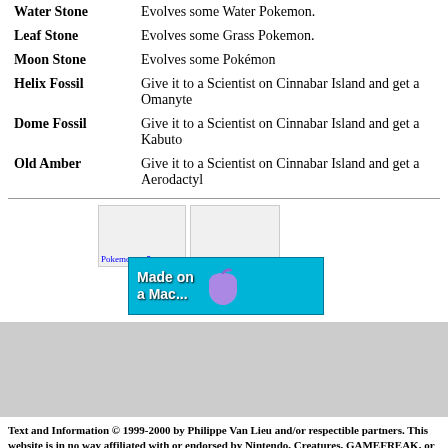| Item | Description |
| --- | --- |
| Water Stone | Evolves some Water Pokemon. |
| Leaf Stone | Evolves some Grass Pokemon. |
| Moon Stone | Evolves some Pokémon |
| Helix Fossil | Give it to a Scientist on Cinnabar Island and get a Omanyte |
| Dome Fossil | Give it to a Scientist on Cinnabar Island and get a Kabuto |
| Old Amber | Give it to a Scientist on Cinnabar Island and get a Aerodactyl |
[Figure (other): Two broken image placeholders (Pokemonton5...) and a Made on a Mac banner advertisement]
[Figure (other): Gray advertisement/content placeholder box]
Text and Information © 1999-2000 by Philippe Van Lieu and/or respectible partners. This website is in no way affiliated with or endorsed by Nintendo, Creatures, GAMEFREAK, or Wizards of the Coast.
Disclaimer